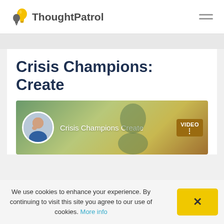[Figure (logo): ThoughtPatrol logo with lightbulb icon and site name]
Crisis Champions: Create
[Figure (screenshot): Video thumbnail showing a man with circular avatar photo, text 'Crisis Champions Create', and a VIDEO badge on a green-gold gradient background]
We use cookies to enhance your experience. By continuing to visit this site you agree to our use of cookies. More info